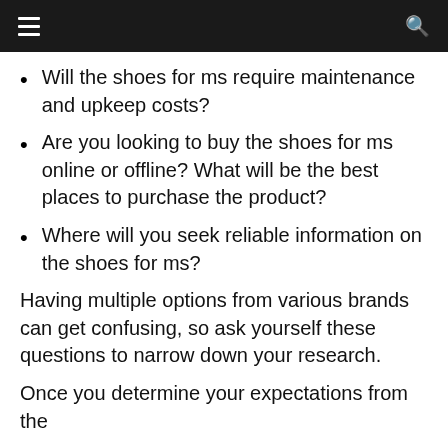Will the shoes for ms require maintenance and upkeep costs?
Are you looking to buy the shoes for ms online or offline? What will be the best places to purchase the product?
Where will you seek reliable information on the shoes for ms?
Having multiple options from various brands can get confusing, so ask yourself these questions to narrow down your research.
Once you determine your expectations from the